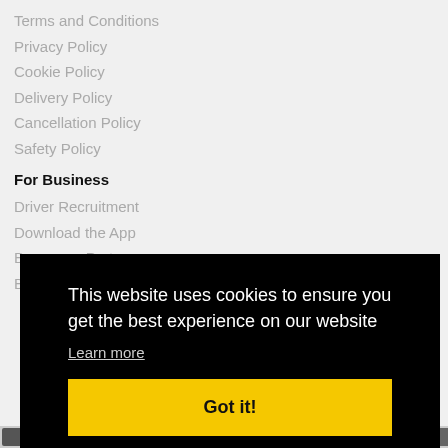Terms and Conditions
Privacy Policy
Cookie Policy
Delivery Policy
Cancellation Policy
Safety Policy
For Business
Driver Recruitment
Download the App
Become a Partner
This website uses cookies to ensure you get the best experience on our website
Learn more
Got it!